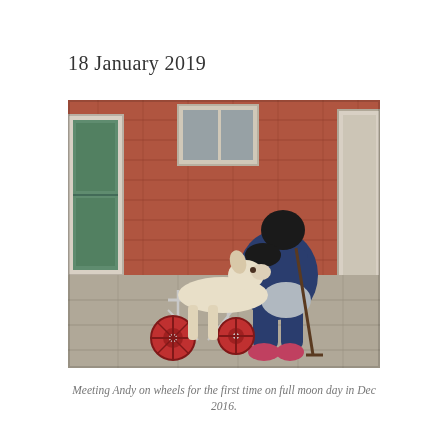18 January 2019
[Figure (photo): A person in a blue tracksuit bending down to nuzzle/kiss a white dog in a wheeled cart/wheelchair for disabled dogs. The dog is cream/white colored and uses a red-wheeled cart for its hindquarters. The person holds a walking stick. The scene is set in an outdoor courtyard with a red brick wall and green/white doors in the background. Paved stone ground.]
Meeting Andy on wheels for the first time on full moon day in Dec 2016.